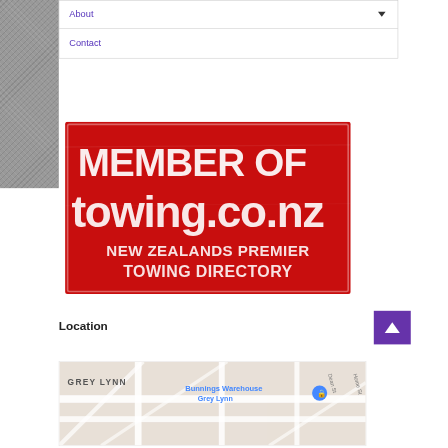About
Contact
[Figure (logo): Red badge/stamp logo reading 'MEMBER OF towing.co.nz - NEW ZEALANDS PREMIER TOWING DIRECTORY' with white distressed text on red background]
Location
[Figure (map): Google Maps screenshot showing Grey Lynn area with Bunnings Warehouse Grey Lynn marker, Dean St, Home St visible]